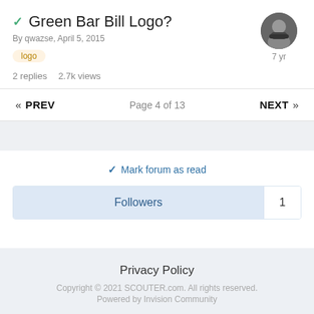✓ Green Bar Bill Logo?
By qwazse, April 5, 2015
logo
2 replies   2.7k views
[Figure (photo): User avatar — person wearing a dark face mask, circular crop, with '7 yr' label below]
« PREV    Page 4 of 13    NEXT »
✓ Mark forum as read
Followers  1
Privacy Policy
Copyright © 2021 SCOUTER.com. All rights reserved.
Powered by Invision Community